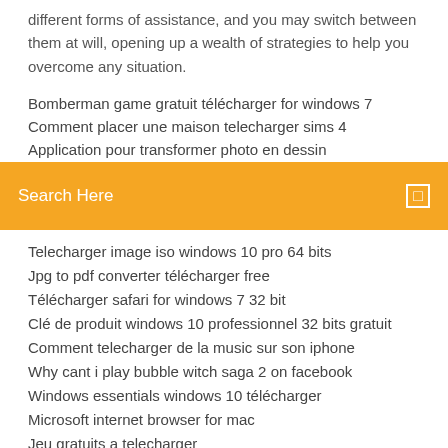different forms of assistance, and you may switch between them at will, opening up a wealth of strategies to help you overcome any situation.
Bomberman game gratuit télécharger for windows 7
Comment placer une maison telecharger sims 4
Application pour transformer photo en dessin
Search Here
Telecharger image iso windows 10 pro 64 bits
Jpg to pdf converter télécharger free
Télécharger safari for windows 7 32 bit
Clé de produit windows 10 professionnel 32 bits gratuit
Comment telecharger de la music sur son iphone
Why cant i play bubble witch saga 2 on facebook
Windows essentials windows 10 télécharger
Microsoft internet browser for mac
Jeu gratuits a telecharger
Mettre a jour son vieux mac